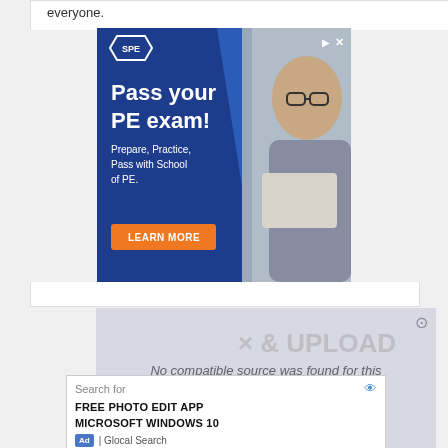everyone.
[Figure (advertisement): School of PE advertisement: 'Pass your PE exam! Prepare, Practice, Pass with School of PE.' with orange LEARN MORE button and photo of middle-aged man with glasses holding a laptop]
No compatible source was found for this media.
[Figure (screenshot): Search ad box with 'Search for' header, eye icon, FREE PHOTO EDIT APP and MICROSOFT WINDOWS 10 search suggestions, Ad badge and Glocal Search footer]
[Figure (infographic): Partially visible CREATE & UPLOAD graphic overlay in background]